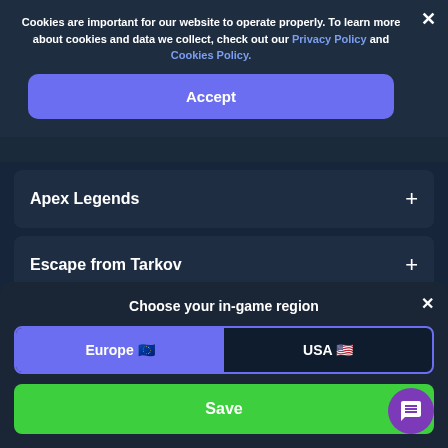Cookies are important for our website to operate properly. To learn more about cookies and data we collect, check out our Privacy Policy and Cookies Policy.
Accept
Apex Legends +
Escape from Tarkov +
Final Fantasy XIV +
Choose your in-game region
Europe 🇪🇺
USA 🇺🇸
Save